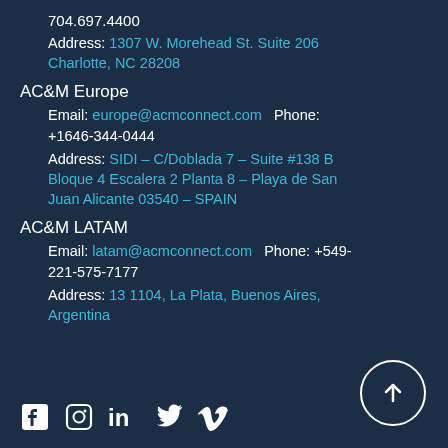704.697.4400
Address: 1307 W. Morehead St. Suite 206 Charlotte, NC 28208
AC&M Europe
Email: europe@acmconnect.com  Phone: +1646-344-0444
Address: SIDI – C/Doblada 7 – Suite #138 B Bloque 4 Escalera 2 Planta 8 – Playa de San Juan Alicante 03540 – SPAIN
AC&M LATAM
Email: latam@acmconnect.com  Phone: +549-221-575-7177
Address: 13 1104, La Plata, Buenos Aires, Argentina
[Figure (infographic): Social media icons: Facebook, Instagram, LinkedIn, Twitter, Vimeo]